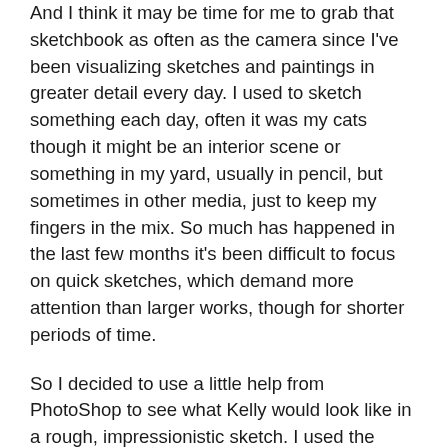And I think it may be time for me to grab that sketchbook as often as the camera since I've been visualizing sketches and paintings in greater detail every day. I used to sketch something each day, often it was my cats though it might be an interior scene or something in my yard, usually in pencil, but sometimes in other media, just to keep my fingers in the mix. So much has happened in the last few months it's been difficult to focus on quick sketches, which demand more attention than larger works, though for shorter periods of time.
So I decided to use a little help from PhotoShop to see what Kelly would look like in a rough, impressionistic sketch. I used the same photo as above, applied the “dry brush” filter and made the brush strokes fairly large. But the filters in PhotoShop don't produce a realistic effect. If I was teaching I would grade the products of PS filters